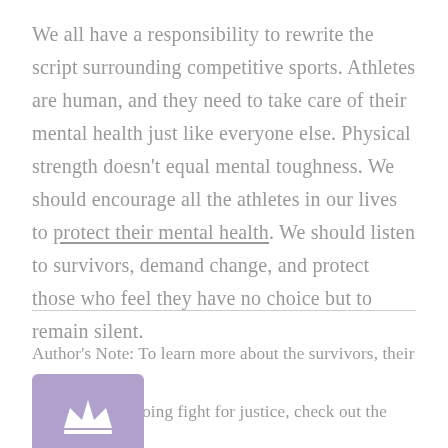We all have a responsibility to rewrite the script surrounding competitive sports. Athletes are human, and they need to take care of their mental health just like everyone else. Physical strength doesn't equal mental toughness. We should encourage all the athletes in our lives to protect their mental health. We should listen to survivors, demand change, and protect those who feel they have no choice but to remain silent.
Author's Note: To learn more about the survivors, their stories, and ongoing fight for justice, check out the following
[Figure (logo): Purple/lavender square icon with a white crown symbol]